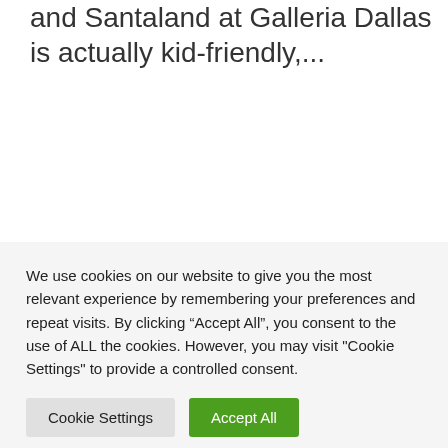and Santaland at Galleria Dallas is actually kid-friendly,...
We use cookies on our website to give you the most relevant experience by remembering your preferences and repeat visits. By clicking “Accept All”, you consent to the use of ALL the cookies. However, you may visit "Cookie Settings" to provide a controlled consent.
Cookie Settings
Accept All